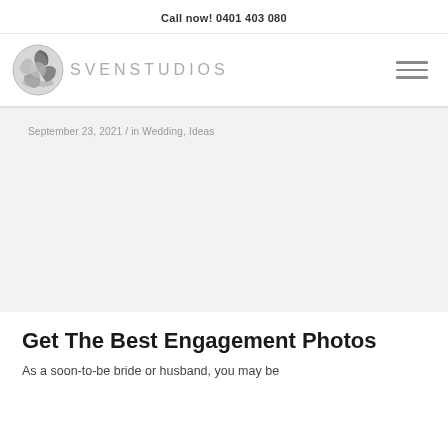Call now! 0401 403 080
[Figure (logo): Sven Studios logo: circular camera shutter/wave graphic in grayscale with stylized text SVENSTUDIOS]
September 23, 2021 / in Wedding, Ideas
Get The Best Engagement Photos
As a soon-to-be bride or husband, you may be